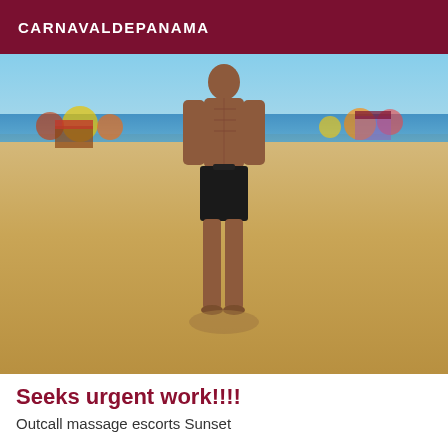CARNAVALDEPANAMA
[Figure (photo): A shirtless man in black shorts standing on a sandy beach. The background shows blue sky, ocean waves, and a crowded beach with colorful umbrellas. The man casts a shadow on the sand.]
Seeks urgent work!!!!
Outcall massage escorts Sunset